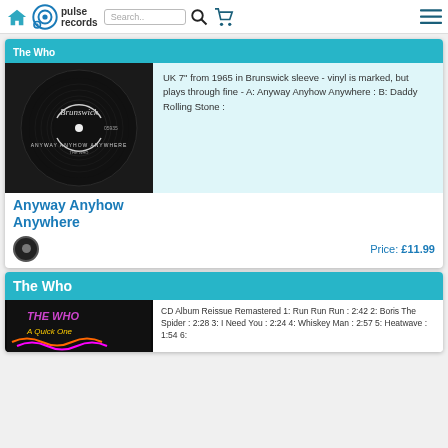pulse records - home, search, cart, menu
The Who
[Figure (photo): Brunswick vinyl 7 inch single record - Anyway Anyhow Anywhere by The Who, black label]
Anyway Anyhow Anywhere
UK 7" from 1965 in Brunswick sleeve - vinyl is marked, but plays through fine - A: Anyway Anyhow Anywhere : B: Daddy Rolling Stone :
Price: £11.99
The Who
[Figure (photo): CD Album cover for The Who - A Quick One]
CD Album Reissue Remastered 1: Run Run Run : 2:42 2: Boris The Spider : 2:28 3: I Need You : 2:24 4: Whiskey Man : 2:57 5: Heatwave : 1:54 6: